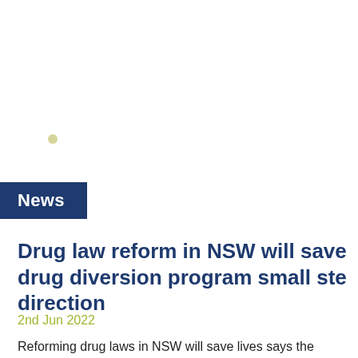News
Drug law reform in NSW will save drug diversion program small ste direction
2nd Jun 2022
Reforming drug laws in NSW will save lives says the Australian Law